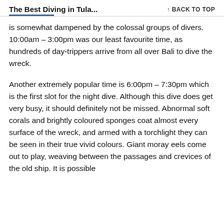The Best Diving in Tula...    ↑ BACK TO TOP
is somewhat dampened by the colossal groups of divers. 10:00am – 3:00pm was our least favourite time, as hundreds of day-trippers arrive from all over Bali to dive the wreck.
Another extremely popular time is 6:00pm – 7:30pm which is the first slot for the night dive. Although this dive does get very busy, it should definitely not be missed. Abnormal soft corals and brightly coloured sponges coat almost every surface of the wreck, and armed with a torchlight they can be seen in their true vivid colours. Giant moray eels come out to play, weaving between the passages and crevices of the old ship. It is possible